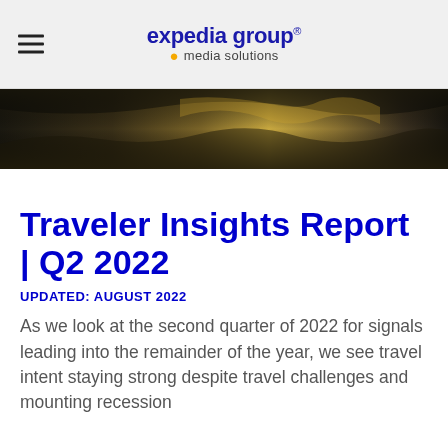expedia group media solutions
[Figure (photo): Abstract dark golden water/texture hero image background]
Traveler Insights Report | Q2 2022
UPDATED: AUGUST 2022
As we look at the second quarter of 2022 for signals leading into the remainder of the year, we see travel intent staying strong despite travel challenges and mounting recession